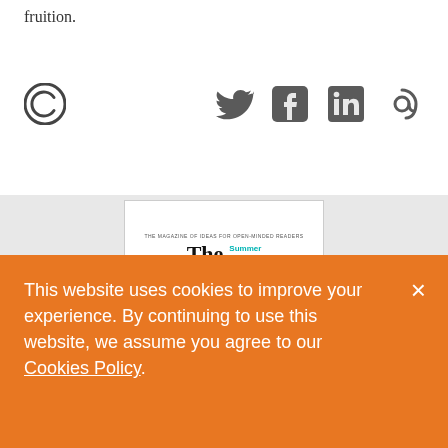fruition.
[Figure (other): Social media icons row: Chartbeat logo (C circle icon on left), Twitter bird icon, Facebook F icon, LinkedIn in icon, email/@ icon on right]
[Figure (other): Magazine preview banner showing 'THE MAGAZINE OF IDEAS FOR OPEN-MINDED READERS' subtitle and 'The' masthead with 'Summer Double' text in teal, on a light gray background]
This website uses cookies to improve your experience. By continuing to use this website, we assume you agree to our Cookies Policy.